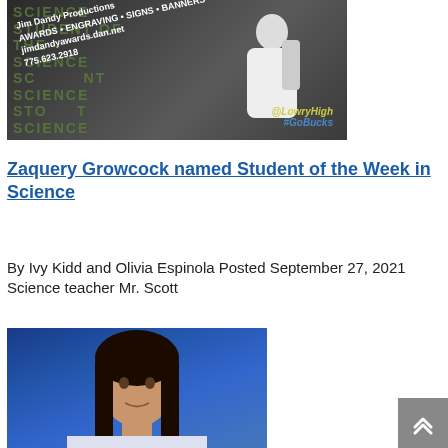[Figure (photo): School student of the week photo with 'Jim Dandy Productions' watermark overlay, science-themed background with student silhouette, @LowryHigh #GoBucks tag]
Zaquery Growcock named Student of the Week in Science
By Ivy Kidd and Olivia Espinola Posted September 27, 2021 Science teacher Mr. Scott
[Figure (photo): Portrait photo of a female student with long dark hair against a blue background]